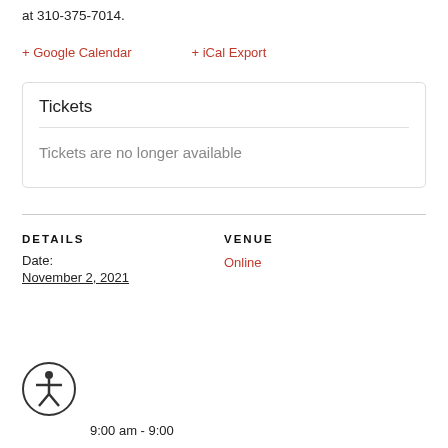at 310-375-7014.
+ Google Calendar
+ iCal Export
Tickets
Tickets are no longer available
DETAILS
VENUE
Date:
November 2, 2021
Online